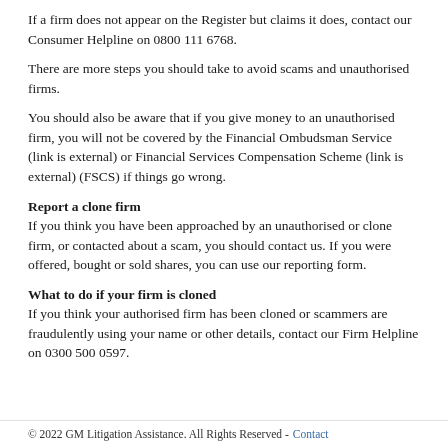If a firm does not appear on the Register but claims it does, contact our Consumer Helpline on 0800 111 6768.
There are more steps you should take to avoid scams and unauthorised firms.
You should also be aware that if you give money to an unauthorised firm, you will not be covered by the Financial Ombudsman Service (link is external) or Financial Services Compensation Scheme (link is external) (FSCS) if things go wrong.
Report a clone firm
If you think you have been approached by an unauthorised or clone firm, or contacted about a scam, you should contact us. If you were offered, bought or sold shares, you can use our reporting form.
What to do if your firm is cloned
If you think your authorised firm has been cloned or scammers are fraudulently using your name or other details, contact our Firm Helpline on 0300 500 0597.
© 2022 GM Litigation Assistance. All Rights Reserved - Contact